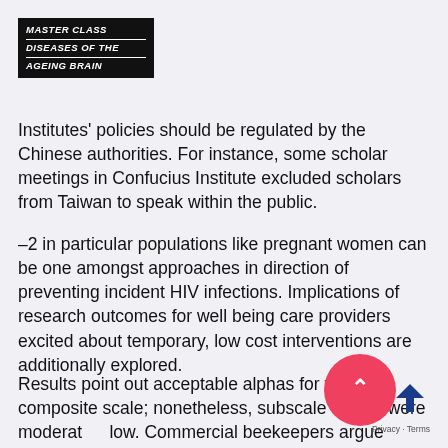[Figure (logo): Master Class Diseases of the Ageing Brain logo — white bold italic text on black background with horizontal divider lines]
Institutes' policies should be regulated by the Chinese authorities. For instance, some scholar meetings in Confucius Institute excluded scholars from Taiwan to speak within the public.
–2 in particular populations like pregnant women can be one amongst approaches in direction of preventing incident HIV infections. Implications of research outcomes for well being care providers excited about temporary, low cost interventions are additionally explored.
Results point out acceptable alphas for the composite scale; nonetheless, subscale alphas were moderately low. Commercial beekeepers argue continually on which feed is most helpful for hive growth, and which breed of honeybee is finest for fast hive development.